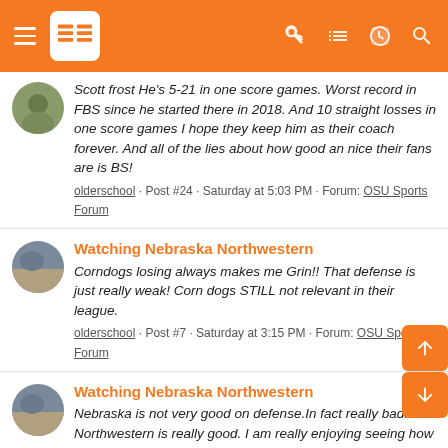OSU Sports Forum app header
Scott frost He's 5-21 in one score games. Worst record in FBS since he started there in 2018. And 10 straight losses in one score games I hope they keep him as their coach forever. And all of the lies about how good an nice their fans are is BS!
olderschool · Post #24 · Saturday at 5:03 PM · Forum: OSU Sports Forum
Watching Nebraska Northwestern
Corndogs losing always makes me Grin!! That defense is just really weak! Corn dogs STILL not relevant in their league.
olderschool · Post #7 · Saturday at 3:15 PM · Forum: OSU Sports Forum
Watching Nebraska Northwestern
Nebraska is not very good on defense.In fact really bad. Or Northwestern is really good. I am really enjoying seeing how bad the are.
olderschool · Thread · Saturday at 1:11 PM · Replies: 47 · Forum: OSU Sports Forum